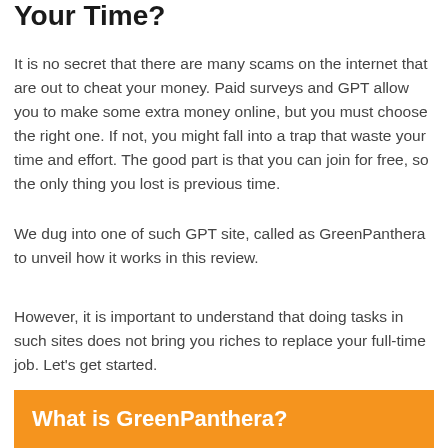Your Time?
It is no secret that there are many scams on the internet that are out to cheat your money. Paid surveys and GPT allow you to make some extra money online, but you must choose the right one. If not, you might fall into a trap that waste your time and effort. The good part is that you can join for free, so the only thing you lost is previous time.
We dug into one of such GPT site, called as GreenPanthera to unveil how it works in this review.
However, it is important to understand that doing tasks in such sites does not bring you riches to replace your full-time job. Let's get started.
What is GreenPanthera?